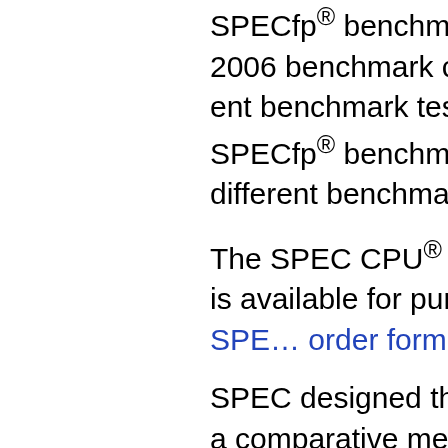SPECint® benchmarks and the SPECfp® benchmarks. The SPEC 2006 benchmark contains 12 different benchmark tests and the SPECfp® benchmark contains 19 different benchmark tests.
The SPEC CPU® 2006 benchmark is available for purchase via the SPEC order form.
SPEC designed this suite to provide a comparative measure of compute-intensive performance across the widest practical range of hardware using workloads developed from real user applications. These benchmarks are provided as source code and require the user to be comfortable using comp...